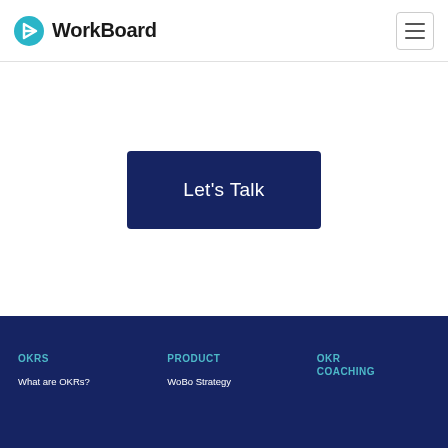WorkBoard
Let's Talk
OKRS | PRODUCT | OKR COACHING | What are OKRs? | WoBo Strategy